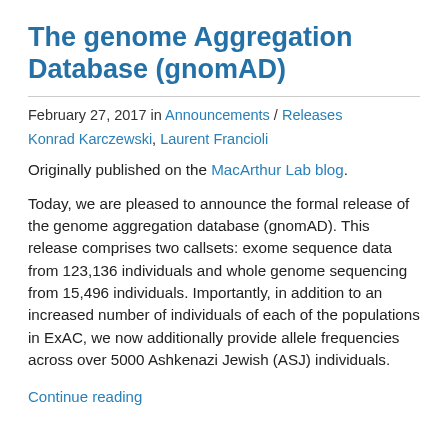The genome Aggregation Database (gnomAD)
February 27, 2017 in Announcements / Releases
Konrad Karczewski, Laurent Francioli
Originally published on the MacArthur Lab blog.
Today, we are pleased to announce the formal release of the genome aggregation database (gnomAD). This release comprises two callsets: exome sequence data from 123,136 individuals and whole genome sequencing from 15,496 individuals. Importantly, in addition to an increased number of individuals of each of the populations in ExAC, we now additionally provide allele frequencies across over 5000 Ashkenazi Jewish (ASJ) individuals.
Continue reading